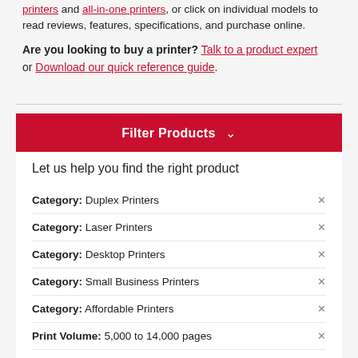printers and all-in-one printers, or click on individual models to read reviews, features, specifications, and purchase online.
Are you looking to buy a printer? Talk to a product expert or Download our quick reference guide.
Filter Products
Let us help you find the right product
Category: Duplex Printers
Category: Laser Printers
Category: Desktop Printers
Category: Small Business Printers
Category: Affordable Printers
Print Volume: 5,000 to 14,000 pages
Product Family: Phaser